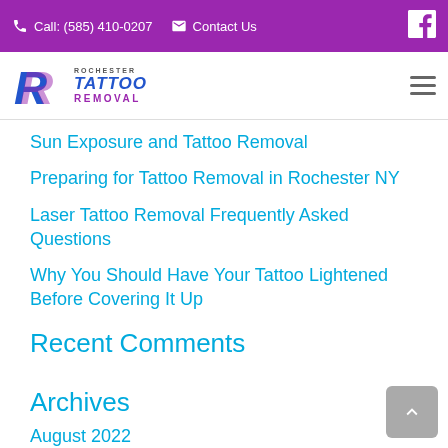Call: (585) 410-0207  Contact Us
[Figure (logo): Rochester Tattoo Removal logo with stylized R and text]
Sun Exposure and Tattoo Removal
Preparing for Tattoo Removal in Rochester NY
Laser Tattoo Removal Frequently Asked Questions
Why You Should Have Your Tattoo Lightened Before Covering It Up
Recent Comments
Archives
August 2022